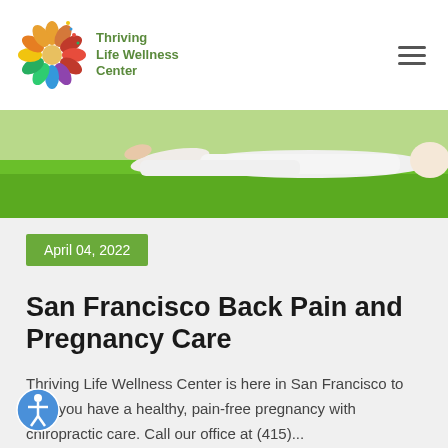[Figure (logo): Thriving Life Wellness Center logo with colorful flower/mandala and green text]
[Figure (photo): Woman in white clothing lying on green grass doing a yoga/stretch pose, viewed from behind]
April 04, 2022
San Francisco Back Pain and Pregnancy Care
Thriving Life Wellness Center is here in San Francisco to help you have a healthy, pain-free pregnancy with chiropractic care. Call our office at (415)...
[Figure (illustration): Accessibility icon - person in circle]